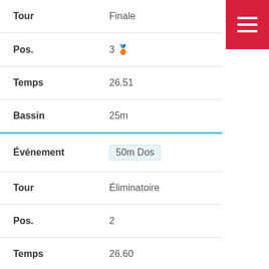Tour — Finale
Pos. — 3 🥉
Temps — 26.51
Bassin — 25m
Événement — 50m Dos
Tour — Éliminatoire
Pos. — 2
Temps — 26.60
Bassin — 25m